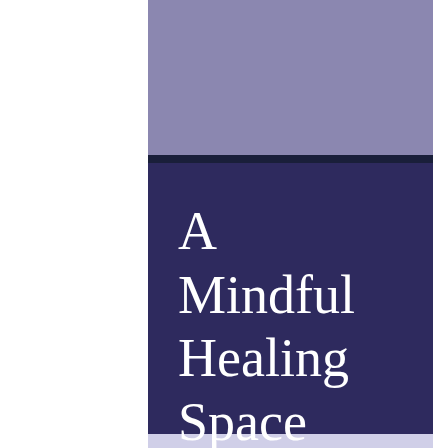[Figure (illustration): Book cover design with lavender/purple color bands. Top section is a muted lavender-purple band, separated by a dark navy divider bar from a deep purple-navy main block containing the title text in white serif font.]
A Mindful Healing Space